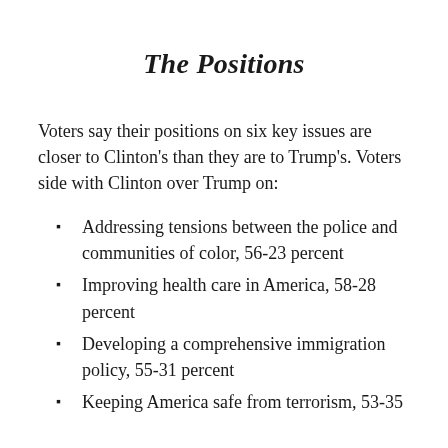The Positions
Voters say their positions on six key issues are closer to Clinton's than they are to Trump's. Voters side with Clinton over Trump on:
Addressing tensions between the police and communities of color, 56-23 percent
Improving health care in America, 58-28 percent
Developing a comprehensive immigration policy, 55-31 percent
Keeping America safe from terrorism, 53-35